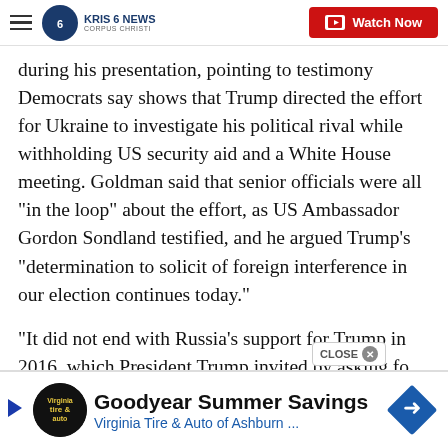KRIS 6 NEWS CORPUS CHRISTI — Watch Now
during his presentation, pointing to testimony Democrats say shows that Trump directed the effort for Ukraine to investigate his political rival while withholding US security aid and a White House meeting. Goldman said that senior officials were all "in the loop" about the effort, as US Ambassador Gordon Sondland testified, and he argued Trump's "determination to solicit of foreign interference in our election continues today."
"It did not end with Russia's support for Trump in 2016, which President Trump invited by asking fo
[Figure (screenshot): Advertisement banner: Goodyear Summer Savings — Virginia Tire & Auto of Ashburn ...]